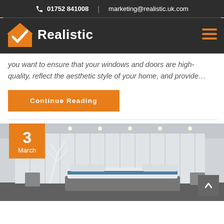01752 841008  |  marketing@realistic.uk.com
[Figure (logo): Realistic company logo with orange house/checkmark icon and white bold text 'Realistic' on dark background, with hamburger menu icon on right]
you want to ensure that your windows and doors are high-quality, reflect the aesthetic style of your home, and provide…
Continue Reading
[Figure (photo): Bedroom interior with white vertical blinds, ceiling spotlights, white decorative tree branches, and a bed with blue and white bedding. Date badge showing '3 March' in orange overlay on top left. Scroll-to-top button in dark grey on bottom right.]